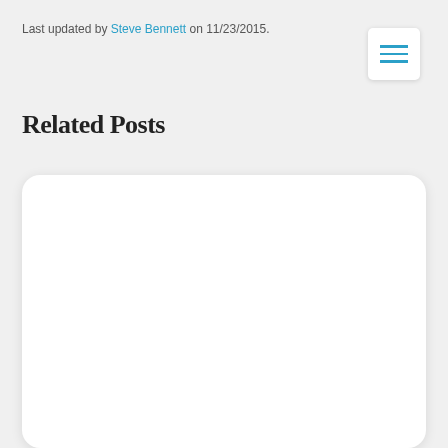Last updated by Steve Bennett on 11/23/2015.
[Figure (other): Hamburger menu icon with three teal horizontal lines on a white rounded rectangle]
Related Posts
[Figure (other): White rounded card/box area below the Related Posts heading]